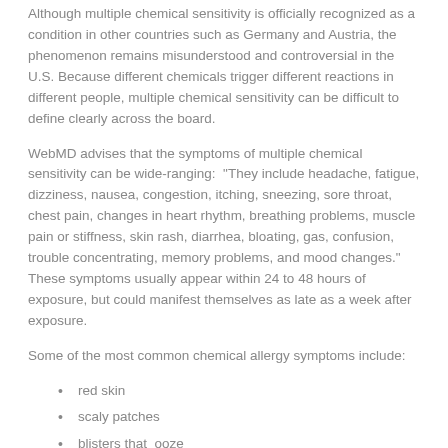Although multiple chemical sensitivity is officially recognized as a condition in other countries such as Germany and Austria, the phenomenon remains misunderstood and controversial in the U.S. Because different chemicals trigger different reactions in different people, multiple chemical sensitivity can be difficult to define clearly across the board.
WebMD advises that the symptoms of multiple chemical sensitivity can be wide-ranging:  "They include headache, fatigue, dizziness, nausea, congestion, itching, sneezing, sore throat, chest pain, changes in heart rhythm, breathing problems, muscle pain or stiffness, skin rash, diarrhea, bloating, gas, confusion, trouble concentrating, memory problems, and mood changes."   These symptoms usually appear within 24 to 48 hours of exposure, but could manifest themselves as late as a week after exposure.
Some of the most common chemical allergy symptoms include:
red skin
scaly patches
blisters that  ooze
burning or itching which may be intense
swelling of the eyes, face and genital area
hives